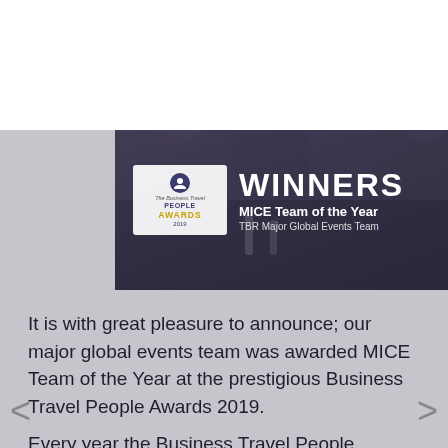[Figure (logo): TBR Global Chauffeuring logo - stylized TBR letters in grey/purple with company name below]
[Figure (photo): Award winners photo - group of people at an event celebration; overlay shows Business Travel People Awards badge and WINNERS text - MICE Team of the Year, TBR Major Global Events Team]
It is with great pleasure to announce; our major global events team was awarded MICE Team of the Year at the prestigious Business Travel People Awards 2019.
Every year the Business Travel People Awards recognise the outstanding individuals and